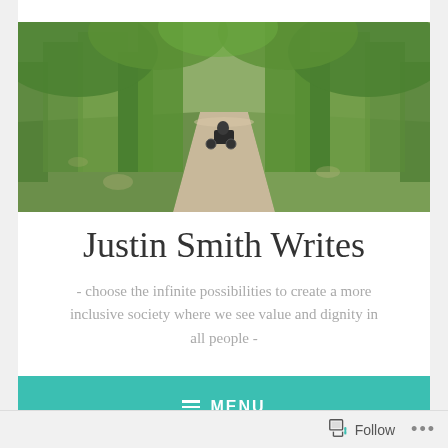[Figure (photo): A wide path lined with green trees on both sides, a person in a motorized wheelchair visible in the middle distance on the path, natural daylight, lush foliage overhead.]
Justin Smith Writes
- choose the infinite possibilities to create a more inclusive society where we see value and dignity in all people -
MENU
[Figure (screenshot): Partial thumbnail images at bottom: left shows a dark-toned image, center shows a light-colored document/page, right shows a dark edge/shadow.]
Follow ...